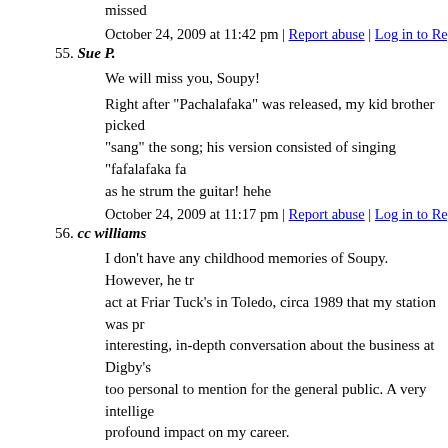missed
October 24, 2009 at 11:42 pm | Report abuse | Log in to Reply
55. Sue P.
We will miss you, Soupy!
Right after "Pachalafaka" was released, my kid brother picked "sang" the song; his version consisted of singing "fafalafaka fa as he strum the guitar! hehe
October 24, 2009 at 11:17 pm | Report abuse | Log in to Reply
56. cc williams
I don't have any childhood memories of Soupy. However, he tr act at Friar Tuck's in Toledo, circa 1989 that my station was pr interesting, in-depth conversation about the business at Digby's too personal to mention for the general public. A very intellige profound impact on my career.
October 24, 2009 at 11:12 pm | Report abuse | Log in to Reply
57. J Hooks
me and my brother would run home to watch soupy and I can nobodys buisness...I used to do a great white fang and black to birthday I got him a dvd of the soupy sales shows and he absol